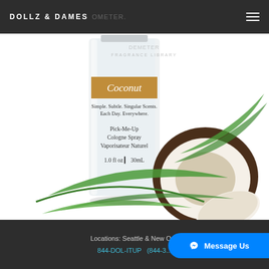DOLLZ & DAMES
[Figure (photo): Product photo showing Demeter Fragrance Library Coconut Pick-Me-Up Cologne Spray 1.0 fl oz / 30mL bottle with a coconut and tropical leaves in the background. The bottle label has a golden-brown header reading 'Coconut' and text: 'Simple. Subtle. Singular Scents. Each Day. Everywhere. Pick-Me-Up Cologne Spray Vaporisateur Naturel 1.0 fl oz | 30mL']
Locations: Seattle & New Or... 844-DOL-ITUP  (844-3...